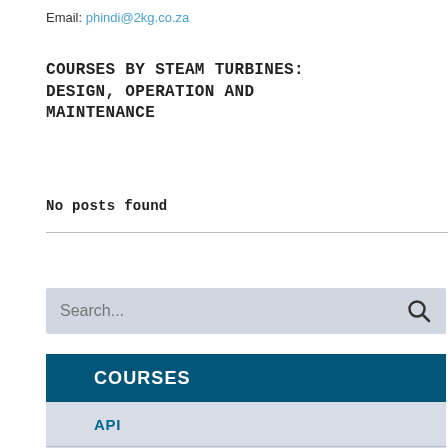Email: phindi@2kg.co.za
COURSES BY STEAM TURBINES: DESIGN, OPERATION AND MAINTENANCE
No posts found
[Figure (other): Search bar with placeholder text 'Search...' and a magnifying glass icon]
COURSES
API
ASME
BEARINGS
COMPRESSORS
GAS TURBINES